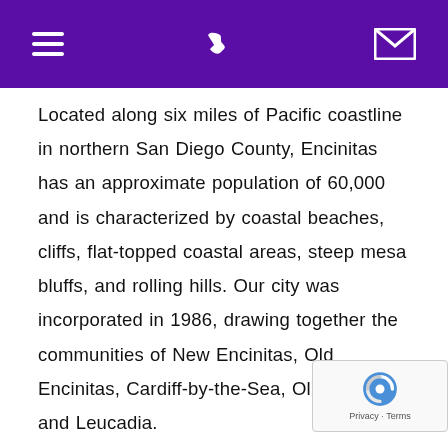[hamburger menu icon] [phone icon] [envelope icon]
Located along six miles of Pacific coastline in northern San Diego County, Encinitas has an approximate population of 60,000 and is characterized by coastal beaches, cliffs, flat-topped coastal areas, steep mesa bluffs, and rolling hills. Our city was incorporated in 1986, drawing together the communities of New Encinitas, Old Encinitas, Cardiff-by-the-Sea, Olivenhain, and Leucadia.

There is a significant flower growing industry in the City and many people claim that Encinitas is the Flower Growing Capital. As the City has developed, it has grown up around the pre-existing flower growers. San Diego Botanical Gardens is a beautiful oasis to visit with Amazon Rainforest and the largest display of bamboo